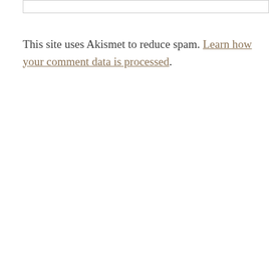This site uses Akismet to reduce spam. Learn how your comment data is processed.